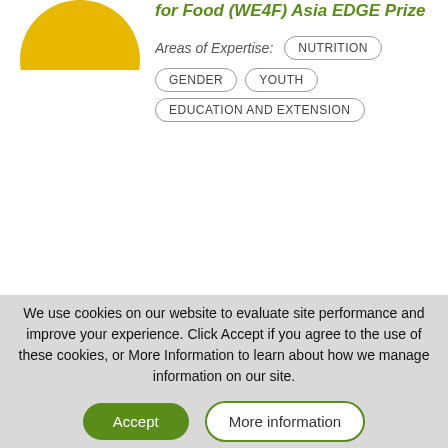for Food (WE4F) Asia EDGE Prize
Areas of Expertise:
NUTRITION
GENDER
YOUTH
EDUCATION AND EXTENSION
Rachel Elizabeth
We use cookies on our website to evaluate site performance and improve your experience. Click Accept if you agree to the use of these cookies, or More Information to learn about how we manage information on our site.
Accept
More information